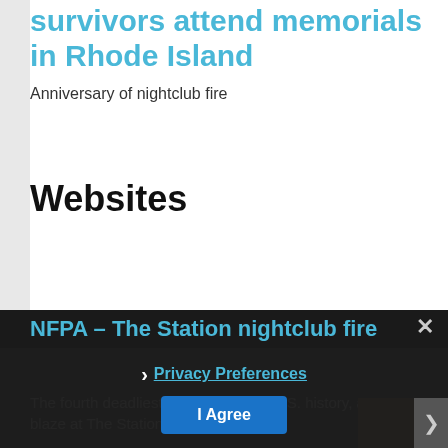survivors attend memorials in Rhode Island
Anniversary of nightclub fire
Websites
NFPA – The Station nightclub fire
The fourth deadliest nightclub fire in U.S. history, a blaze at The Station nightclub in W.
Privacy Preferences
I Agree